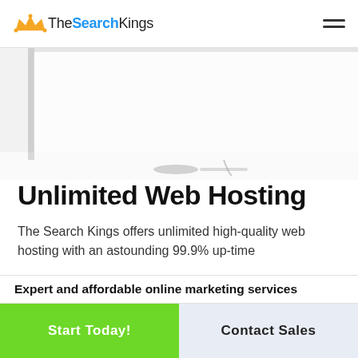TheSearchKings
[Figure (photo): Partial view of a desktop computer monitor with a white desk surface, showing the lower portion of an iMac-style monitor and a small object on the desk. Light grey background.]
Unlimited Web Hosting
The Search Kings offers unlimited high-quality web hosting with an astounding 99.9% up-time
Expert and affordable online marketing services
Start Today!
Contact Sales
99.9% Up-time Guarantee